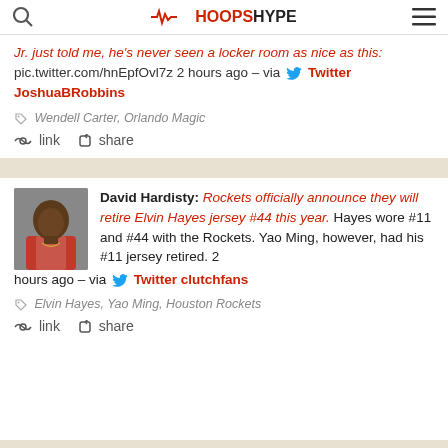HoopsHype
Jr. just told me, he's never seen a locker room as nice as this: pic.twitter.com/hnEpfOvl7z 2 hours ago – via Twitter JoshuaBRobbins
Wendell Carter, Orlando Magic
🔗 link  share
David Hardisty: Rockets officially announce they will retire Elvin Hayes jersey #44 this year. Hayes wore #11 and #44 with the Rockets. Yao Ming, however, had his #11 jersey retired. 2 hours ago – via Twitter clutchfans
Elvin Hayes, Yao Ming, Houston Rockets
🔗 link  share